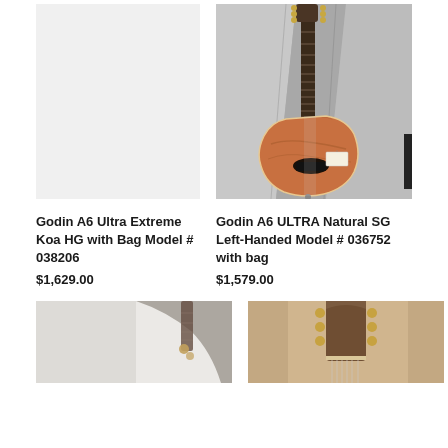[Figure (photo): Blank light gray placeholder image for Godin A6 Ultra Extreme Koa HG with Bag]
[Figure (photo): Photo of a Godin A6 ULTRA Natural SG Left-Handed guitar hanging on a gray fabric background]
Godin A6 Ultra Extreme Koa HG with Bag Model # 038206
$1,629.00
Godin A6 ULTRA Natural SG Left-Handed Model # 036752 with bag
$1,579.00
[Figure (photo): Partial photo showing bottom portion of a guitar (neck/body, blurred)]
[Figure (photo): Partial photo showing headstock of a guitar against a tan/beige background]